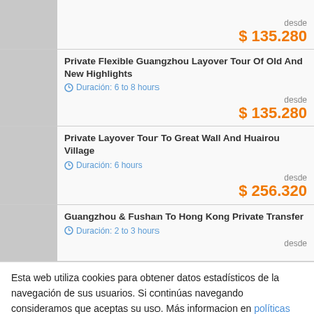desde $ 135.280
Private Flexible Guangzhou Layover Tour Of Old And New Highlights
Duración: 6 to 8 hours
desde $ 135.280
Private Layover Tour To Great Wall And Huairou Village
Duración: 6 hours
desde $ 256.320
Guangzhou & Fushan To Hong Kong Private Transfer
Duración: 2 to 3 hours
desde
Esta web utiliza cookies para obtener datos estadísticos de la navegación de sus usuarios. Si continúas navegando consideramos que aceptas su uso. Más informacion en políticas de privacidad
Private Half-Half Layover Excursions In Suzhou from